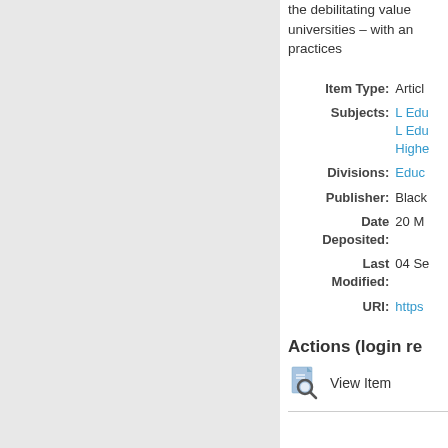the debilitating value universities – with an practices
| Item Type: | Article |
| Subjects: | L Edu
L Edu
Highe |
| Divisions: | Educ |
| Publisher: | Black |
| Date Deposited: | 20 M |
| Last Modified: | 04 Se |
| URI: | https |
Actions (login re
View Item